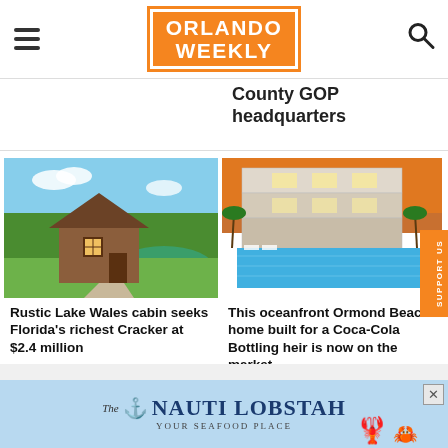ORLANDO WEEKLY
County GOP headquarters
[Figure (photo): Rustic wooden cabin near a green pond with trees in the background]
Rustic Lake Wales cabin seeks Florida's richest Cracker at $2.4 million
[Figure (photo): Luxury oceanfront home with large pool at dusk, multi-story modern architecture]
This oceanfront Ormond Beach home built for a Coca-Cola Bottling heir is now on the market
[Figure (other): The Nauti Lobstah - Your Seafood Place advertisement banner]